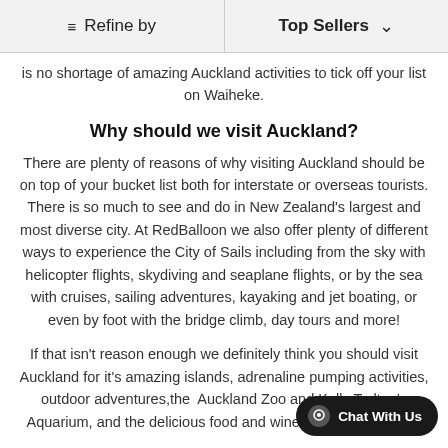≡ Refine by   Top Sellers ∨
is no shortage of amazing Auckland activities to tick off your list on Waiheke.
Why should we visit Auckland?
There are plenty of reasons of why visiting Auckland should be on top of your bucket list both for interstate or overseas tourists. There is so much to see and do in New Zealand's largest and most diverse city. At RedBalloon we also offer plenty of different ways to experience the City of Sails including from the sky with helicopter flights, skydiving and seaplane flights, or by the sea with cruises, sailing adventures, kayaking and jet boating, or even by foot with the bridge climb, day tours and more!
If that isn't reason enough we definitely think you should visit Auckland for it's amazing islands, adrenaline pumping activities, outdoor adventures,the  Auckland Zoo and Kelly Tarlton's Aquarium, and the delicious food and wine culture. Once yo...